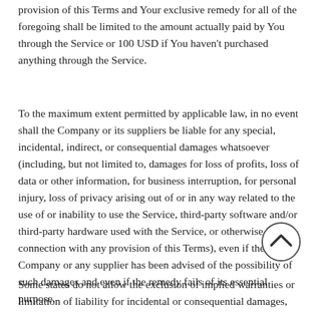provision of this Terms and Your exclusive remedy for all of the foregoing shall be limited to the amount actually paid by You through the Service or 100 USD if You haven't purchased anything through the Service.
To the maximum extent permitted by applicable law, in no event shall the Company or its suppliers be liable for any special, incidental, indirect, or consequential damages whatsoever (including, but not limited to, damages for loss of profits, loss of data or other information, for business interruption, for personal injury, loss of privacy arising out of or in any way related to the use of or inability to use the Service, third-party software and/or third-party hardware used with the Service, or otherwise in connection with any provision of this Terms), even if the Company or any supplier has been advised of the possibility of such damages and even if the remedy fails of its essential purpose.
Some states do not allow the exclusion of implied warranties or limitation of liability for incidental or consequential damages, which